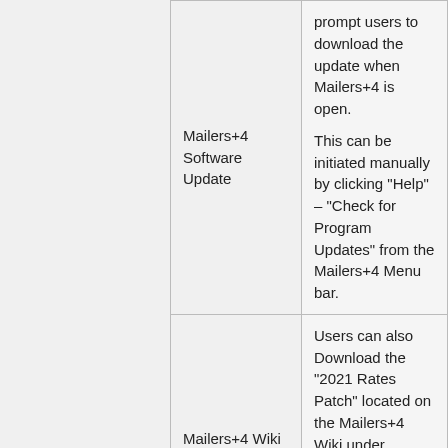| Source | Description |
| --- | --- |
| Mailers+4 Software Update | prompt users to download the update when Mailers+4 is open.

This can be initiated manually by clicking "Help" – "Check for Program Updates" from the Mailers+4 Menu bar. |
| Mailers+4 Wiki | Users can also Download the "2021 Rates Patch" located on the Mailers+4 Wiki under Current – Notices.

It can be found here: MAILERS+4 |